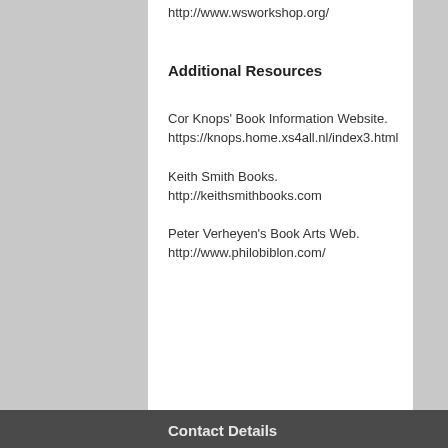http://www.wsworkshop.org/
Additional Resources
Cor Knops' Book Information Website.
https://knops.home.xs4all.nl/index3.html
Keith Smith Books.
http://keithsmithbooks.com
Peter Verheyen's Book Arts Web.
http://www.philobiblon.com/
Contact Details